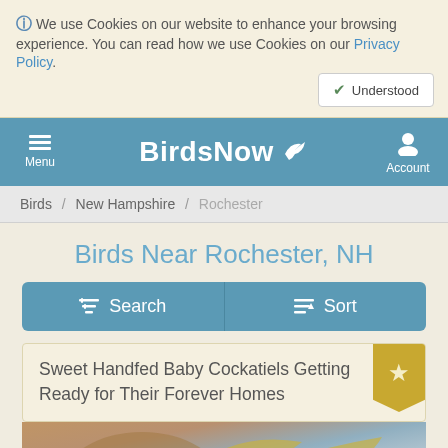ℹ We use Cookies on our website to enhance your browsing experience. You can read how we use Cookies on our Privacy Policy.
Understood
BirdsNow | Menu | Account
Birds / New Hampshire / Rochester
Birds Near Rochester, NH
Search | Sort
Sweet Handfed Baby Cockatiels Getting Ready for Their Forever Homes
[Figure (photo): Photo of cockatiels, partial view showing bird feathers and wings against a light background]